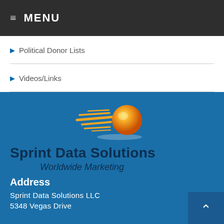☰ MENU
Political Donor Lists
Videos/Links
[Figure (logo): Sprint Data Solutions comet/meteor logo in orange and yellow on blue background]
Sprint Data Solutions
Worldwide Marketing
Address
Sprint Data Solutions LLC
5348 Vegas Drive